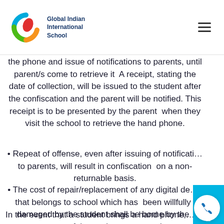Global Indian International School
the phone and issue of notifications to parents, until parent/s come to retrieve it  A receipt, stating the date of collection, will be issued to the student after the confiscation and the parent will be notified. This receipt is to be presented by the parent  when they visit the school to retrieve the hand phone.
Repeat of offense, even after issuing of notification to parents, will result in confiscation  on a non-returnable basis.
The cost of repair/replacement of any digital device that belongs to school which has  been willfully damaged by the student shall be borne by the parent of the student concerned.
In the event that a student brings a hand phone, with or without approval, and loses it within the school